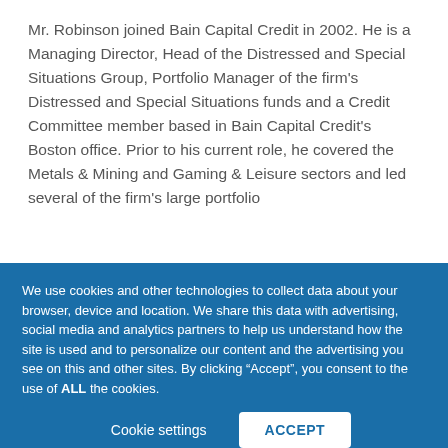Mr. Robinson joined Bain Capital Credit in 2002. He is a Managing Director, Head of the Distressed and Special Situations Group, Portfolio Manager of the firm's Distressed and Special Situations funds and a Credit Committee member based in Bain Capital Credit's Boston office. Prior to his current role, he covered the Metals & Mining and Gaming & Leisure sectors and led several of the firm's large portfolio
We use cookies and other technologies to collect data about your browser, device and location. We share this data with advertising, social media and analytics partners to help us understand how the site is used and to personalize our content and the advertising you see on this and other sites. By clicking “Accept”, you consent to the use of ALL the cookies.